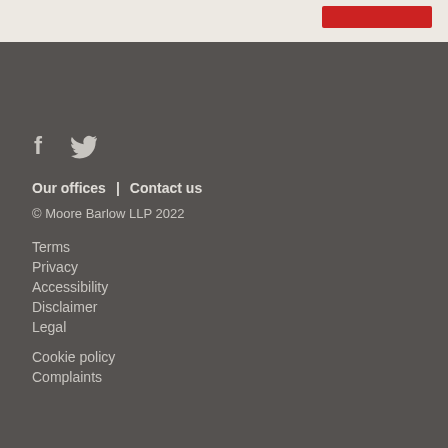[Figure (screenshot): Top portion of a webpage with light beige background and a red button in the upper right corner]
Social media icons (Facebook, Twitter)
Our offices | Contact us
© Moore Barlow LLP 2022
Terms
Privacy
Accessibility
Disclaimer
Legal
Cookie policy
Complaints